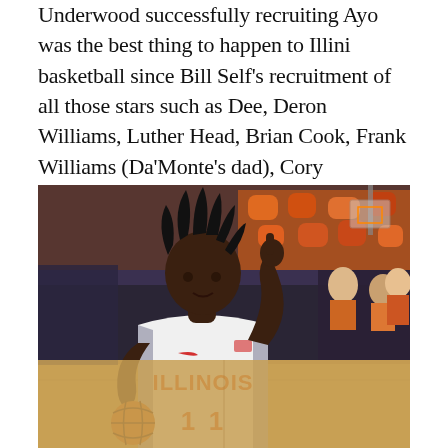Underwood successfully recruiting Ayo was the best thing to happen to Illini basketball since Bill Self's recruitment of all those stars such as Dee, Deron Williams, Luther Head, Brian Cook, Frank Williams (Da'Monte's dad), Cory Bradford, Sergio McClain, Marcus Griffin, etc. in the early to mid 2000s.
[Figure (photo): Basketball player wearing Illinois #11 jersey pointing upward with right hand while dribbling a basketball, with orange-clad fans in the background at a basketball arena.]